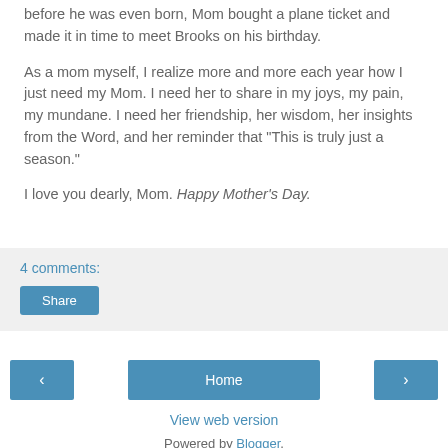before he was even born, Mom bought a plane ticket and made it in time to meet Brooks on his birthday.
As a mom myself, I realize more and more each year how I just need my Mom. I need her to share in my joys, my pain, my mundane. I need her friendship, her wisdom, her insights from the Word, and her reminder that "This is truly just a season."
I love you dearly, Mom. Happy Mother's Day.
4 comments:
Share
Home
View web version
Powered by Blogger.